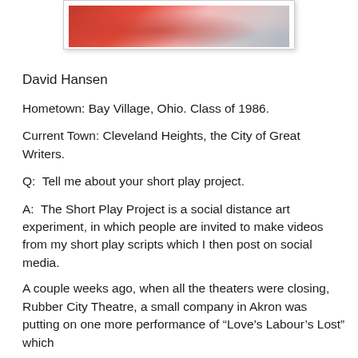[Figure (photo): A cropped photo showing what appears to be a theatrical performance with figures in red and light tones, partially visible at the top of the page.]
David Hansen
Hometown: Bay Village, Ohio. Class of 1986.
Current Town: Cleveland Heights, the City of Great Writers.
Q:  Tell me about your short play project.
A:  The Short Play Project is a social distance art experiment, in which people are invited to make videos from my short play scripts which I then post on social media.
A couple weeks ago, when all the theaters were closing, Rubber City Theatre, a small company in Akron was putting on one more performance of “Love’s Labour’s Lost” which